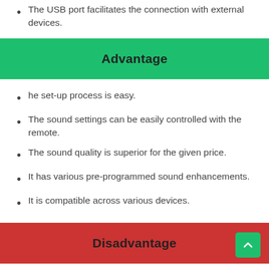The USB port facilitates the connection with external devices.
Advantage
he set-up process is easy.
The sound settings can be easily controlled with the remote.
The sound quality is superior for the given price.
It has various pre-programmed sound enhancements.
It is compatible across various devices.
Disadvantage